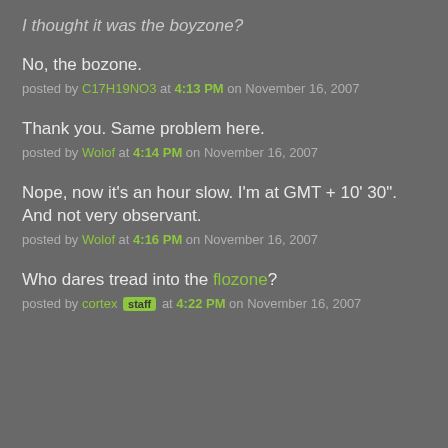I thought it was the boyzone?
No, the bozone.
posted by C17H19NO3 at 4:13 PM on November 16, 2007
Thank you. Same problem here.
posted by Wolof at 4:14 PM on November 16, 2007
Nope, now it's an hour slow. I'm at GMT + 10' 30". And not very observant.
posted by Wolof at 4:16 PM on November 16, 2007
Who dares tread into the flozone?
posted by cortex [staff] at 4:22 PM on November 16, 2007